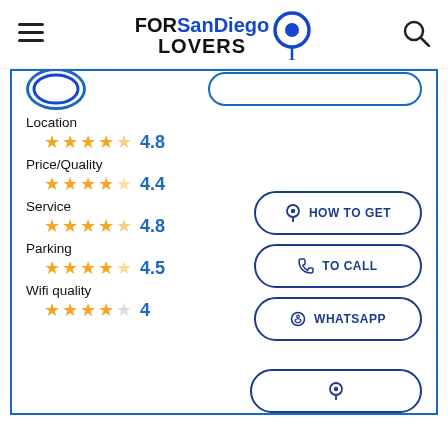FORSanDiego LOVERS
Location 4.8
Price/Quality 4.4
Service 4.8
Parking 4.5
Wifi quality 4
HOW TO GET
TO CALL
WHATSAPP